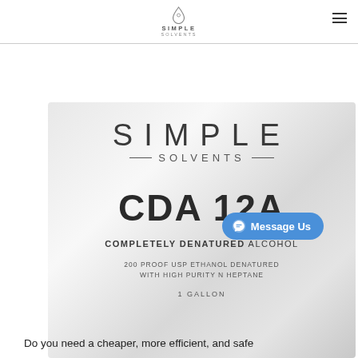SIMPLE SOLVENTS
[Figure (photo): Product photo of a Simple Solvents CDA 12A container with a metallic silver label. The label reads: SIMPLE SOLVENTS, CDA 12A, COMPLETELY DENATURED ALCOHOL, 200 PROOF USP ETHANOL DENATURED WITH HIGH PURITY N HEPTANE, 1 GALLON.]
Do you need a cheaper, more efficient, and safe